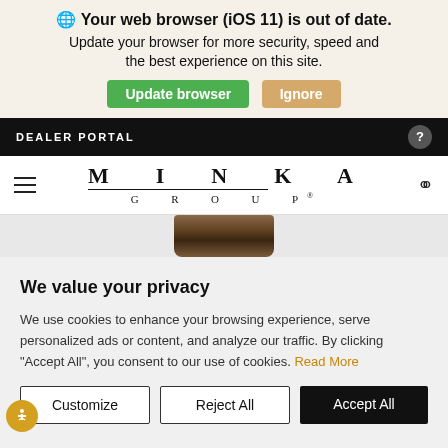Your web browser (iOS 11) is out of date. Update your browser for more security, speed and the best experience on this site.
Update browser | Ignore
DEALER PORTAL
[Figure (logo): Minka Group logo with stylized spaced lettering]
[Figure (photo): Partial product image - dark bronze/brown ceiling fan or light fixture base]
We value your privacy
We use cookies to enhance your browsing experience, serve personalized ads or content, and analyze our traffic. By clicking "Accept All", you consent to our use of cookies. Read More
Customize | Reject All | Accept All